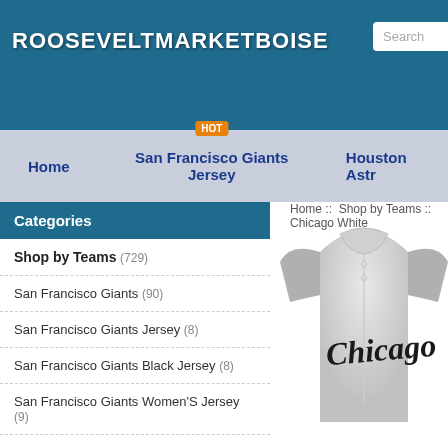ROOSEVELTMARKETBOISE
Home  San Francisco Giants Jersey  Houston Astr
Home :: Shop by Teams :: Chicago White
Categories
Shop by Teams (729)
San Francisco Giants (90)
San Francisco Giants Jersey (8)
San Francisco Giants Black Jersey (8)
San Francisco Giants Women'S Jersey (9)
San Francisco Giants Jersey History (3)
San Francisco Giants Jersey Numbers (2)
[Figure (photo): A gray baseball jersey with 'Chicago' written in black script lettering, shown from the front.]